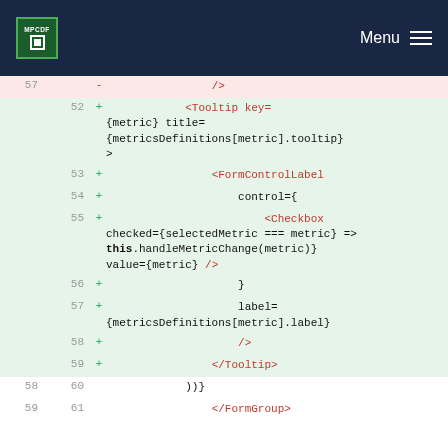MPCDF Menu
[Figure (screenshot): Code diff view showing additions (green background) and deletions (red background) of JSX code involving Tooltip, FormControlLabel, and Checkbox components]
57 - />
52 + <Tooltip key={metric} title={metricsDefinitions[metric].tooltip}>
53 + <FormControlLabel
54 + control={
55 + <Checkbox checked={selectedMetric === metric} onChange={() => this.handleMetricChange(metric)} value={metric} />
56 + }
57 + label={metricsDefinitions[metric].label}
58 + />
59 + </Tooltip>
58 60 ))}
59 61 </FormGroup>